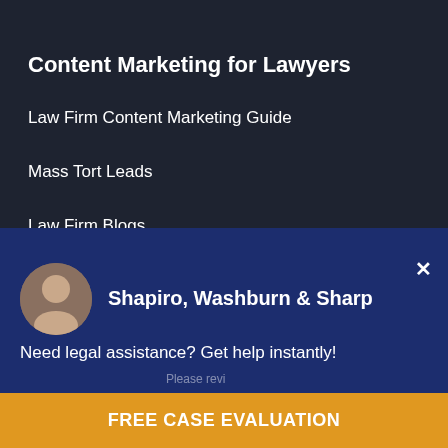Content Marketing for Lawyers
Law Firm Content Marketing Guide
Mass Tort Leads
Law Firm Blogs
This website is for informational purposes only and does not provide legal advice. Please do not act or refrain from acting based on anything you read on this site. The Legal Examiner is not a law firm. But, many Legal Examiner Network sites are. Using this site or communicating with our law firms are Legal Advertising.
Shapiro, Washburn & Sharp
Need legal assistance? Get help instantly!
FREE CASE EVALUATION